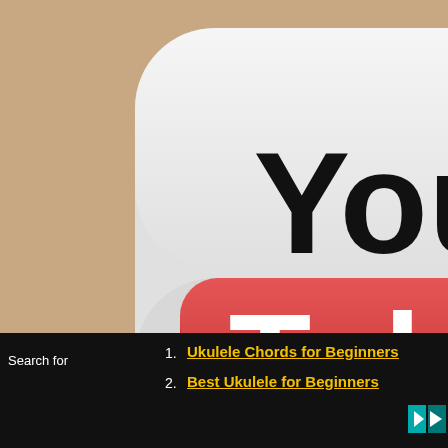[Figure (logo): YouTube logo icon with rounded square background, 'You' in black text and 'Tube' in white text on a red rounded rectangle]
Did You See?
Flight Fireball EQ-A Tenor Ukulele - REVIEW
It sometimes seems like I need to calm down with
[D
[A
I w
Fr
[D
[A
Fe
Pr
Search for
1. Ukulele Chords for Beginners
2. Best Ukulele for Beginners